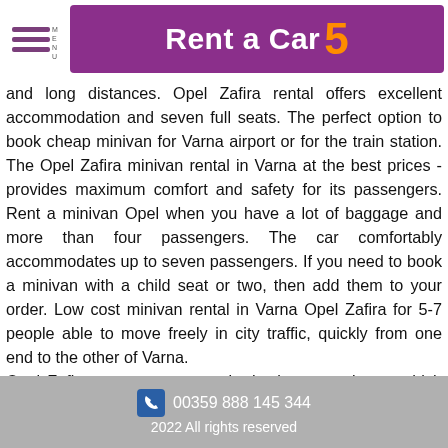Rent a Car 5
and long distances. Opel Zafira rental offers excellent accommodation and seven full seats. The perfect option to book cheap minivan for Varna airport or for the train station. The Opel Zafira minivan rental in Varna at the best prices -provides maximum comfort and safety for its passengers. Rent a minivan Opel when you have a lot of baggage and more than four passengers. The car comfortably accommodates up to seven passengers. If you need to book a minivan with a child seat or two, then add them to your order. Low cost minivan rental in Varna Opel Zafira for 5-7 people able to move freely in city traffic, quickly from one end to the other of Varna.
Opel Zafira seven seater car is the best rental van, which easily fit your whole family with luggage on the journey. Rent a car in Varna minivan the big car is more comfortable.The seven seater van is roomy and economical vehicle. The Opel Zafira is a van that is perfect family vehicle. It is a great family vacation car,. The Opel Zafira with 7seats is perfect for a group of friends on a summer road trip. It features 3 rows of removable seats.
00359 888 145 344
2022 All rights reserved